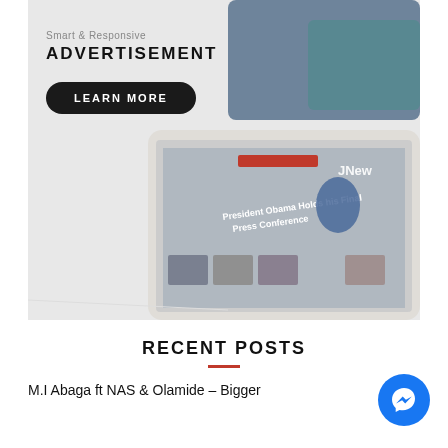[Figure (screenshot): Advertisement banner showing a tablet device displaying the JNews website with 'President Obama Holds his Final Press Conference' article. Text overlay reads 'Smart & Responsive ADVERTISEMENT' with a 'LEARN MORE' button on a dark rounded rectangle.]
RECENT POSTS
M.I Abaga ft NAS & Olamide – Bigger